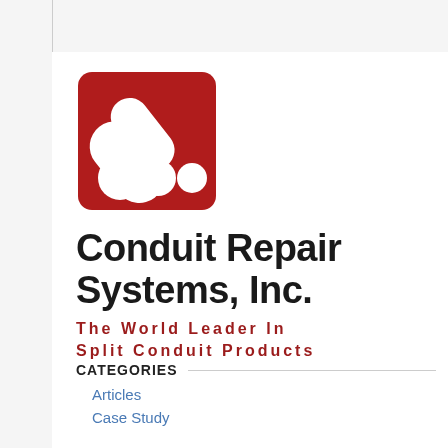[Figure (logo): Conduit Repair Systems, Inc. logo — red rounded square with three white conduit pipe shapes (two diagonal tubes and three circles), followed by bold black company name and dark red tagline 'The World Leader In Split Conduit Products']
CATEGORIES
Articles
Case Study